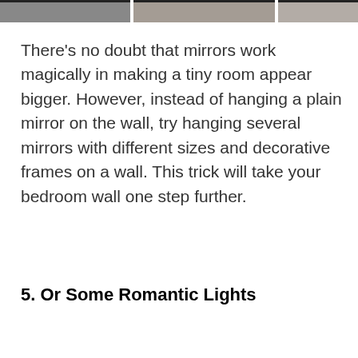[Figure (photo): Partial view of bedroom interior photos at the top of the page]
There's no doubt that mirrors work magically in making a tiny room appear bigger. However, instead of hanging a plain mirror on the wall, try hanging several mirrors with different sizes and decorative frames on a wall. This trick will take your bedroom wall one step further.
5. Or Some Romantic Lights